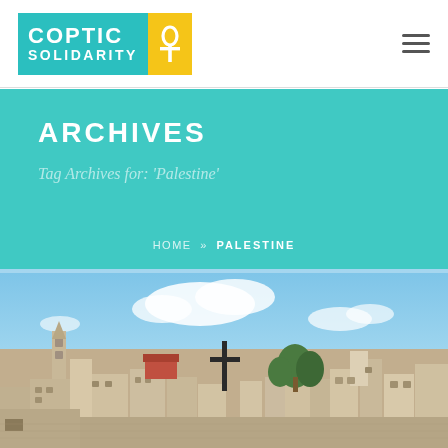Coptic Solidarity logo and navigation
ARCHIVES
Tag Archives for: 'Palestine'
HOME » PALESTINE
[Figure (photo): Panoramic view of a Middle Eastern city (Bethlehem) showing stone buildings, a church bell tower, a large cross, trees, and a blue sky with white clouds]